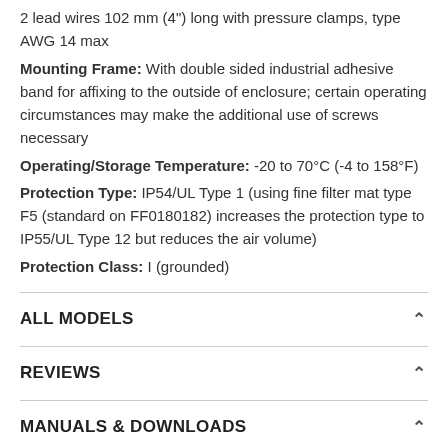2 lead wires 102 mm (4") long with pressure clamps, type AWG 14 max
Mounting Frame: With double sided industrial adhesive band for affixing to the outside of enclosure; certain operating circumstances may make the additional use of screws necessary
Operating/Storage Temperature: -20 to 70°C (-4 to 158°F)
Protection Type: IP54/UL Type 1 (using fine filter mat type F5 (standard on FF0180182) increases the protection type to IP55/UL Type 12 but reduces the air volume)
Protection Class: I (grounded)
ALL MODELS
REVIEWS
MANUALS & DOWNLOADS